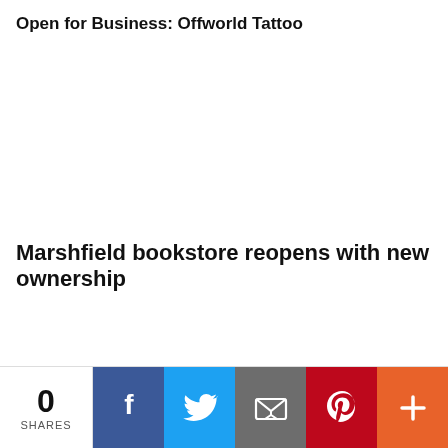Open for Business: Offworld Tattoo
[Figure (photo): Image placeholder for Offworld Tattoo article]
Marshfield bookstore reopens with new ownership
[Figure (photo): Image placeholder for Marshfield bookstore article]
0 SHARES | Facebook | Twitter | Email | Pinterest | More